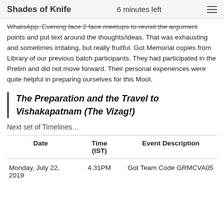Shades of Knife | 6 minutes left
WhatsApp. Evening face 2 face meetups to revisit the argument points and put text around the thoughts/ideas. That was exhausting and sometimes irritating, but really fruitful. Got Memorial copies from Library of our previous batch participants. They had participated in the Prelim and did not move forward. Their personal experiences were quite helpful in preparing ourselves for this Moot.
The Preparation and the Travel to Vishakapatnam (The Vizag!)
Next set of Timelines…
| Date | Time (IST) | Event Description |
| --- | --- | --- |
| Monday, July 22, 2019 | 4.31PM | Got Team Code GRMCVA05 |